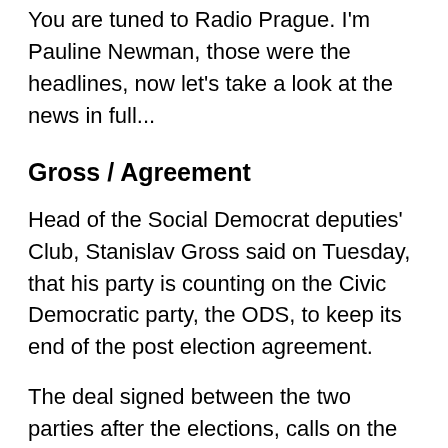You are tuned to Radio Prague. I'm Pauline Newman, those were the headlines, now let's take a look at the news in full...
Gross / Agreement
Head of the Social Democrat deputies' Club, Stanislav Gross said on Tuesday, that his party is counting on the Civic Democratic party, the ODS, to keep its end of the post election agreement.
The deal signed between the two parties after the elections, calls on the ODS to support the social democrat government and not to undermine it.
Mr Gross said that on no account are the Social Democrats obliged to discuss individual appointments to the head of state owned companies with the ODS.